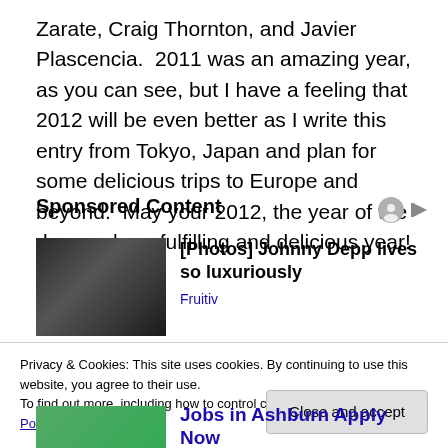Zarate, Craig Thornton, and Javier Plascencia.  2011 was an amazing year, as you can see, but I have a feeling that 2012 will be even better as I write this entry from Tokyo, Japan and plan for some delicious trips to Europe and beyond.  May your 2012, the year of the dragon, be a fulfilling and delicious year!
Sponsored Content
[Figure (photo): Photo of a person with long hair in a dark setting, associated with Johnny Depp sponsored content ad]
[Photos] Johnny Depp lives so luxuriously
Fruitiv
Privacy & Cookies: This site uses cookies. By continuing to use this website, you agree to their use.
To find out more, including how to control cookies, see here: Cookie Policy
Close and accept
Jobs in Ashburn Apply Now